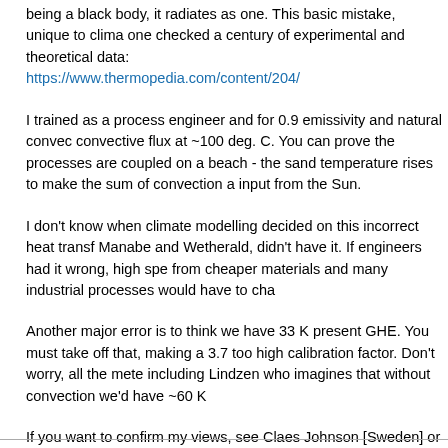being a black body, it radiates as one. This basic mistake, unique to clima one checked a century of experimental and theoretical data:
https://www.thermopedia.com/content/204/
I trained as a process engineer and for 0.9 emissivity and natural convec convective flux at ~100 deg. C. You can prove the processes are coupled on a beach - the sand temperature rises to make the sum of convection a input from the Sun.
I don't know when climate modelling decided on this incorrect heat transf Manabe and Wetherald, didn't have it. If engineers had it wrong, high spe from cheaper materials and many industrial processes would have to cha
Another major error is to think we have 33 K present GHE. You must take off that, making a 3.7 too high calibration factor. Don't worry, all the mete including Lindzen who imagines that without convection we'd have ~60 K
If you want to confirm my views, see Claes Johnson [Sweden] or Doug C come to the same conclusions in different ways.